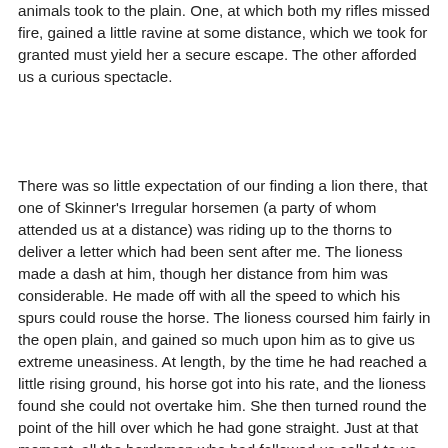animals took to the plain. One, at which both my rifles missed fire, gained a little ravine at some distance, which we took for granted must yield her a secure escape. The other afforded us a curious spectacle.
There was so little expectation of our finding a lion there, that one of Skinner's Irregular horsemen (a party of whom attended us at a distance) was riding up to the thorns to deliver a letter which had been sent after me. The lioness made a dash at him, though her distance from him was considerable. He made off with all the speed to which his spurs could rouse the horse. The lioness coursed him fairly in the open plain, and gained so much upon him as to give us extreme uneasiness. At length, by the time he had reached a little rising ground, his horse got into his rate, and the lioness found she could not overtake him. She then turned round the point of the hill over which he had gone straight. Just at that moment, all the herdsmen who had followed us called to us, and said that the first lioness had come back into the thorns. We had no difficulty in finding her. The gentleman who first stumbled on her wounded her. Though she was much crippled by the shots, when I met her,